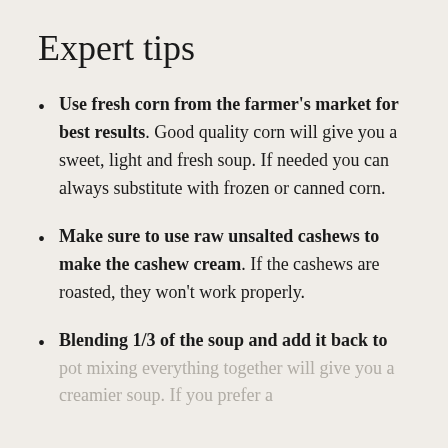Expert tips
Use fresh corn from the farmer's market for best results. Good quality corn will give you a sweet, light and fresh soup. If needed you can always substitute with frozen or canned corn.
Make sure to use raw unsalted cashews to make the cashew cream. If the cashews are roasted, they won't work properly.
Blending 1/3 of the soup and add it back to pot mixing everything together will give you a creamier soup. If you prefer a